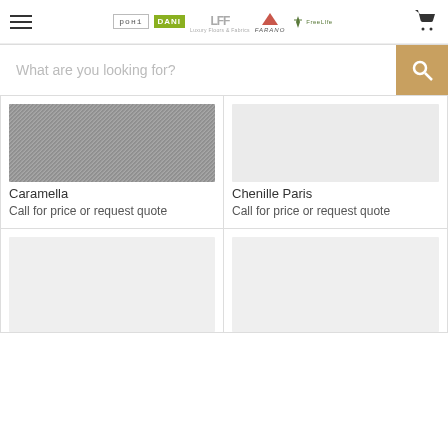Navigation header with hamburger menu, brand logos (ROHI, DANI, LFF, FARANO, FreeLIfe), and shopping cart icon
What are you looking for?
[Figure (photo): Caramella product texture swatch - grey woven fabric]
Caramella
Call for price or request quote
[Figure (photo): Chenille Paris product image placeholder - light grey]
Chenille Paris
Call for price or request quote
[Figure (photo): Product image placeholder - light grey bottom left]
[Figure (photo): Product image placeholder - light grey bottom right]